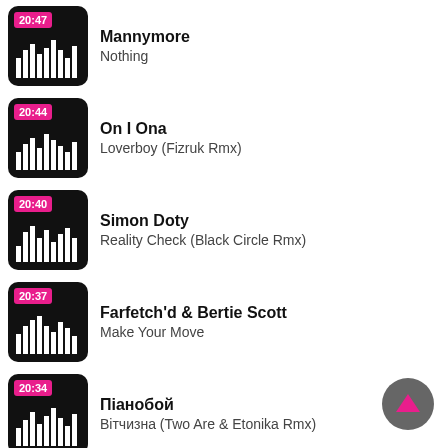20:47 Mannymore – Nothing
20:44 On I Ona – Loverboy (Fizruk Rmx)
20:40 Simon Doty – Reality Check (Black Circle Rmx)
20:37 Farfetch'd & Bertie Scott – Make Your Move
20:34 Піанобой – Вітчизна (Two Are & Etonika Rmx)